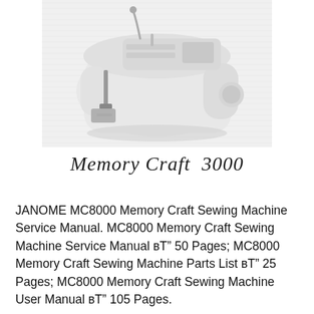[Figure (photo): A white Janome Memory Craft sewing machine photographed on a light background, shown from a slight angle with the needle, presser foot, and control panel visible.]
Memory Craft 3000
JANOME MC8000 Memory Craft Sewing Machine Service Manual. MC8000 Memory Craft Sewing Machine Service Manual вЂ" 50 Pages; MC8000 Memory Craft Sewing Machine Parts List вЂ" 25 Pages; MC8000 Memory Craft Sewing Machine User Manual вЂ" 105 Pages.